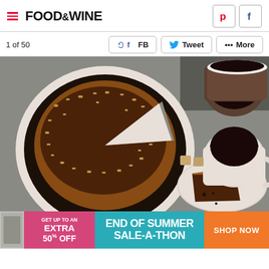FOOD&WINE
1 of 50
FB  Tweet  ••• More
[Figure (photo): Overhead view of a chocolate peanut butter pie in a dark cookie crust on a white fluted plate, with a slice removed, served alongside mugs of black coffee and sugar cubes on a gray surface.]
GET UP TO AN EXTRA 50% OFF  END OF SUMMER SALE-A-THON  SHOP NOW